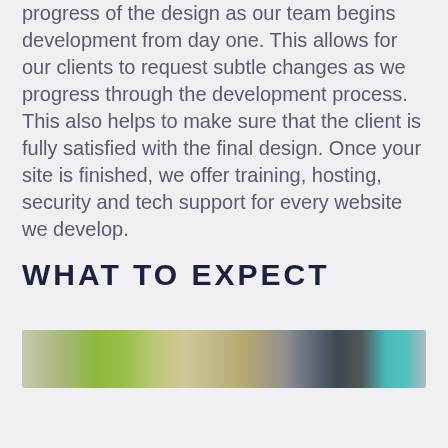progress of the design as our team begins development from day one. This allows for our clients to request subtle changes as we progress through the development process. This also helps to make sure that the client is fully satisfied with the final design. Once your site is finished, we offer training, hosting, security and tech support for every website we develop.
WHAT TO EXPECT
[Figure (photo): A horizontal photo strip showing a food/table scene with green herbs and teal/turquoise items visible.]